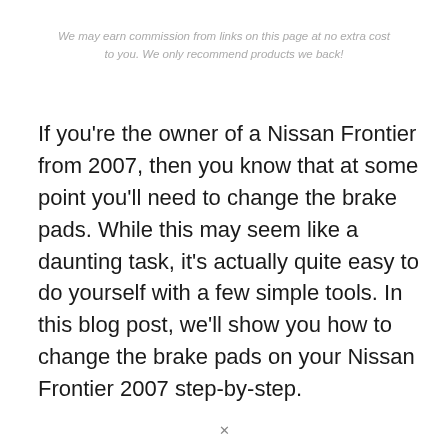We may earn commission from links on this page at no extra cost to you. We only recommend products we back!
If you're the owner of a Nissan Frontier from 2007, then you know that at some point you'll need to change the brake pads. While this may seem like a daunting task, it's actually quite easy to do yourself with a few simple tools. In this blog post, we'll show you how to change the brake pads on your Nissan Frontier 2007 step-by-step.